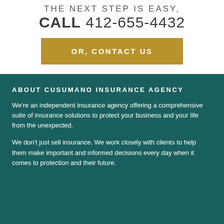THE NEXT STEP IS EASY, CALL 412-655-4432
OR, CONTACT US
ABOUT CUSUMANO INSURANCE AGENCY
We're an independent insurance agency offering a comprehensive suite of insurance solutions to protect your business and your life from the unexpected.
We don't just sell insurance. We work closely with clients to help them make important and informed decisions every day when it comes to protection and their future.